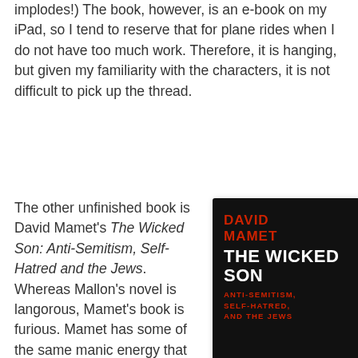implodes!) The book, however, is an e-book on my iPad, so I tend to reserve that for plane rides when I do not have too much work. Therefore, it is hanging, but given my familiarity with the characters, it is not difficult to pick up the thread.
The other unfinished book is David Mamet’s The Wicked Son: Anti-Semitism, Self-Hatred and the Jews. Whereas Mallon’s novel is langorous, Mamet’s book is furious. Mamet has some of the same manic energy that Daniel Patrick Moynihan had – and Mamet’s ire is directed at a favorite Moynihan target, all varieties of leftist radicals who are so
[Figure (photo): Book cover of 'The Wicked Son: Anti-Semitism, Self-Hatred and the Jews' by David Mamet. Black background with red and white text. Author name 'DAVID MAMET' in red bold letters at top, followed by 'THE WICKED SON' in large white bold letters, then 'ANTI-SEMITISM, SELF-HATRED, AND THE JEWS' in red smaller letters. A quote from The New York Times Book Review appears at the bottom in small grey text.]